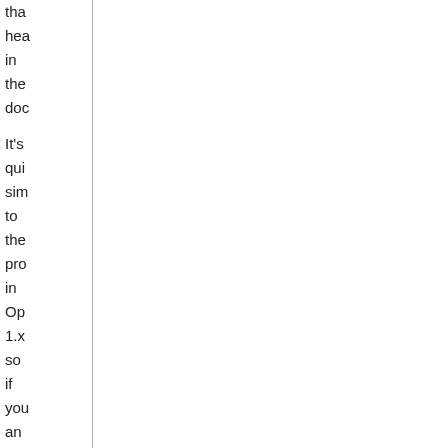tha hea in the doc It's qui sim to the pro in Op 1.x so if you an exp in the pre rele